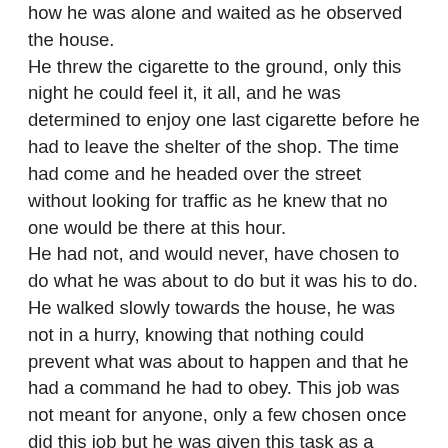how he was alone and waited as he observed the house. He threw the cigarette to the ground, only this night he could feel it, it all, and he was determined to enjoy one last cigarette before he had to leave the shelter of the shop. The time had come and he headed over the street without looking for traffic as he knew that no one would be there at this hour. He had not, and would never, have chosen to do what he was about to do but it was his to do. He walked slowly towards the house, he was not in a hurry, knowing that nothing could prevent what was about to happen and that he had a command he had to obey. This job was not meant for anyone, only a few chosen once did this job but he was given this task as a punishment and he knew very well, why that was. He stood for a few minutes in front of his childhood home, a long time had passed since he was last there but he knew nothing had changed, he knew his parents. He went through the front door and directly into his parents bedroom, there they were, half a sleep, his mother was more awake than asleep and next to their